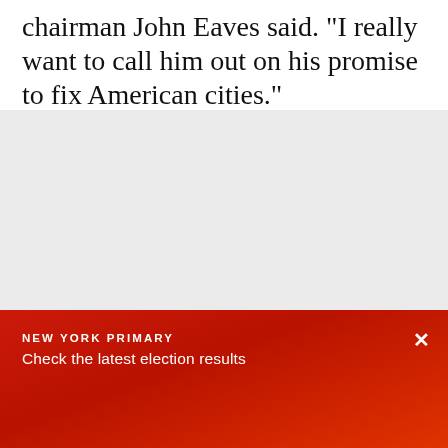chairman John Eaves said. "I really want to call him out on his promise to fix American cities."
[Figure (other): Gray placeholder area for an image or advertisement]
NEW YORK PRIMARY
Check the latest election results